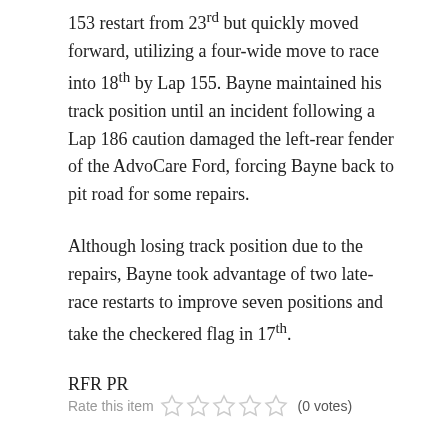153 restart from 23rd but quickly moved forward, utilizing a four-wide move to race into 18th by Lap 155. Bayne maintained his track position until an incident following a Lap 186 caution damaged the left-rear fender of the AdvoCare Ford, forcing Bayne back to pit road for some repairs.
Although losing track position due to the repairs, Bayne took advantage of two late-race restarts to improve seven positions and take the checkered flag in 17th.
RFR PR
Rate this item (0 votes)